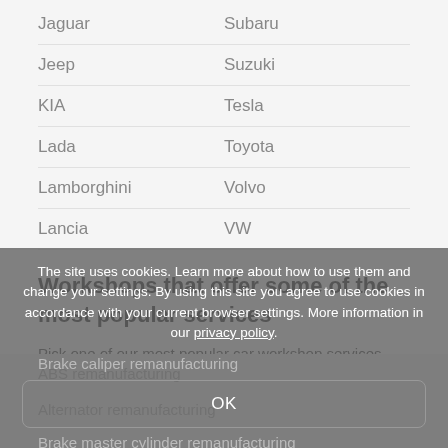Jaguar	Subaru
Jeep	Suzuki
KIA	Tesla
Lada	Toyota
Lamborghini	Volvo
Lancia	VW
Workshops that offer some of the most popular services
Pick one of our most popular car workshop services and find the list of best car workshops and mechanics for that service.
The site uses cookies. Learn more about how to use them and change your settings. By using this site you agree to use cookies in accordance with your current browser settings. More information in our privacy policy.
ABS remanufacturing
Alternator remanufacturing
Brake caliper remanufacturing
Brake master cylinder remanufacturing